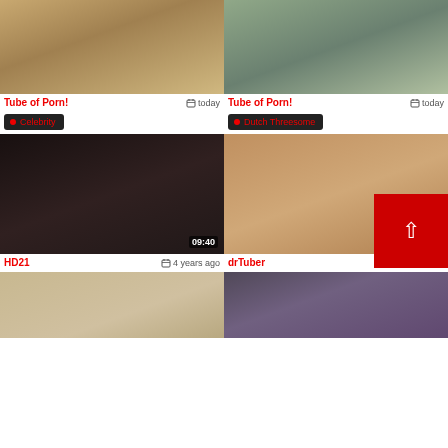[Figure (screenshot): Video thumbnail top-left: beach scene]
[Figure (screenshot): Video thumbnail top-right: indoor scene]
Tube of Porn!   today
Tube of Porn!   today
Celebrity
Dutch Threesome
[Figure (screenshot): Video thumbnail mid-left: close-up, duration 09:40]
[Figure (screenshot): Video thumbnail mid-right: close-up, duration 10:10]
HD21   4 years ago
drTuber   4 years ago
[Figure (screenshot): Video thumbnail bottom-left: indoor scene]
[Figure (screenshot): Video thumbnail bottom-right: indoor scene]